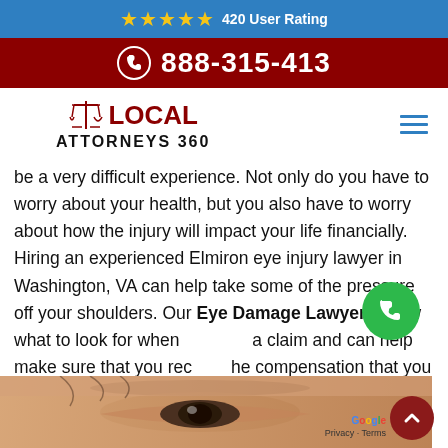★★★★★ 420 User Rating
888-315-413
[Figure (logo): Local Attorneys 360 logo with scales of justice icon]
be a very difficult experience. Not only do you have to worry about your health, but you also have to worry about how the injury will impact your life financially. Hiring an experienced Elmiron eye injury lawyer in Washington, VA can help take some of the pressure off your shoulders. Our Eye Damage Lawyers know what to look for when filing a claim and can help make sure that you receive the compensation that you deserve.
[Figure (photo): Close-up photo of a person's eye and brow area]